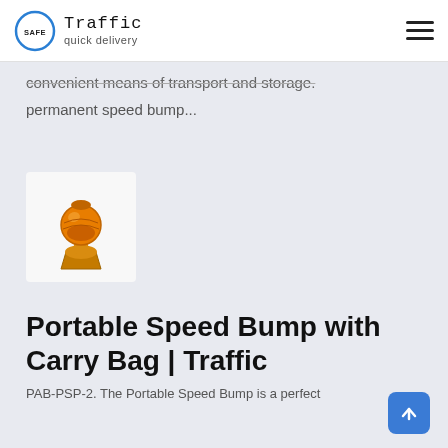Safe Traffic quick delivery — navigation header with hamburger menu
convenient means of transport and storage.
permanent speed bump...
[Figure (photo): Orange portable speed bump / barrier light product photo on white background]
Portable Speed Bump with Carry Bag | Traffic
PAB-PSP-2. The Portable Speed Bump is a perfect